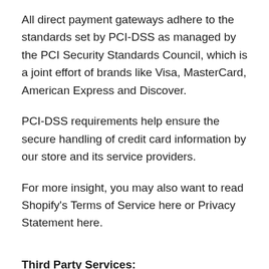All direct payment gateways adhere to the standards set by PCI-DSS as managed by the PCI Security Standards Council, which is a joint effort of brands like Visa, MasterCard, American Express and Discover.
PCI-DSS requirements help ensure the secure handling of credit card information by our store and its service providers.
For more insight, you may also want to read Shopify's Terms of Service here or Privacy Statement here.
Third Party Services:
In general, the third-party providers used by us will only collect, use and disclose your information to the extent